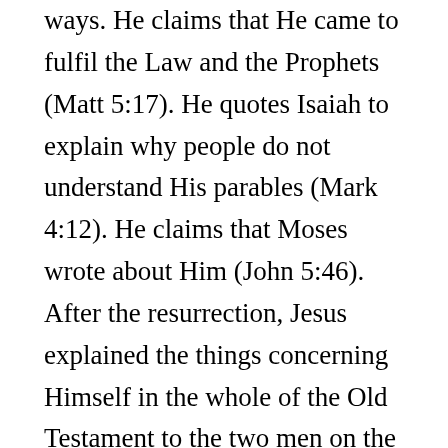ways. He claims that He came to fulfill the Law and the Prophets (Matt 5:17). He quotes Isaiah to explain why people do not understand His parables (Mark 4:12). He claims that Moses wrote about Him (John 5:46). After the resurrection, Jesus explained the things concerning Himself in the whole of the Old Testament to the two men on the road to Emmaus (Luke 24:25–27), and after that He opened the minds of His followers to understand the Old Testament (24:45).